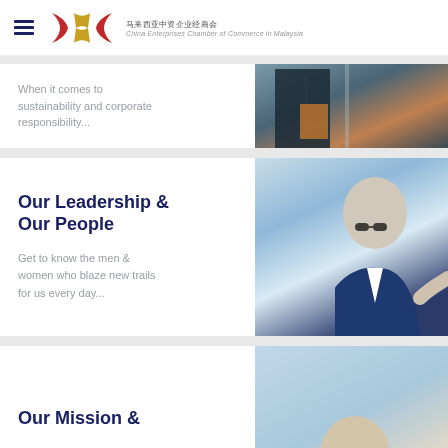马来西亚中资企业经商会 China Enterprises Chamber of Commerce in Malaysia
When it comes to sustainability and corporate responsibility...
[Figure (photo): Man in dark shirt holding a clipboard/envelope at a construction site]
Our Leadership & Our People
Get to know the men & women who blaze new trails for us every day...
[Figure (photo): Older businessman with glasses pointing, blurred background]
Our Mission &